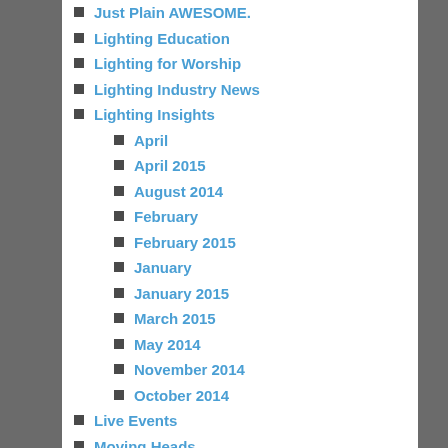Just Plain AWESOME.
Lighting Education
Lighting for Worship
Lighting Industry News
Lighting Insights
April
April 2015
August 2014
February
February 2015
January
January 2015
March 2015
May 2014
November 2014
October 2014
Live Events
Moving Heads
On Tour with Chauvet Professional
One-on-One with Team Chauvet
Opera
Pixel Mapping